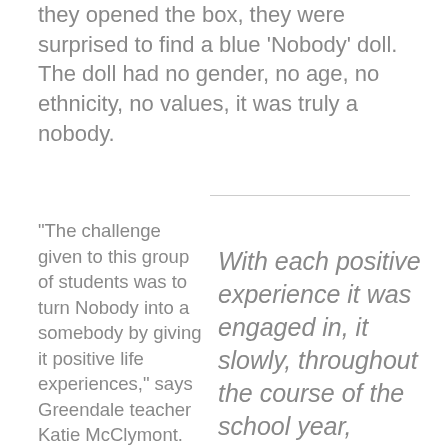they opened the box, they were surprised to find a blue ‘Nobody’ doll. The doll had no gender, no age, no ethnicity, no values, it was truly a nobody.
“The challenge given to this group of students was to turn Nobody into a somebody by giving it positive life experiences,” says Greendale teacher Katie McClymont.
With each positive experience it was engaged in, it slowly, throughout the course of the school year, gained a personality and transformed into